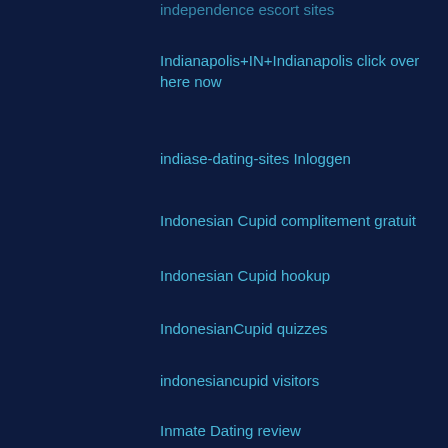independence escort sites
Indianapolis+IN+Indianapolis click over here now
indiase-dating-sites Inloggen
Indonesian Cupid complitement gratuit
Indonesian Cupid hookup
IndonesianCupid quizzes
indonesiancupid visitors
Inmate Dating review
Inspiration
installment loans no credit check